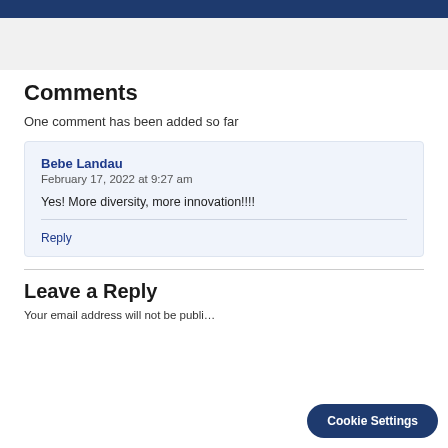Comments
One comment has been added so far
Bebe Landau
February 17, 2022 at 9:27 am

Yes! More diversity, more innovation!!!!

Reply
Leave a Reply
Your email address will not be publi…
Cookie Settings